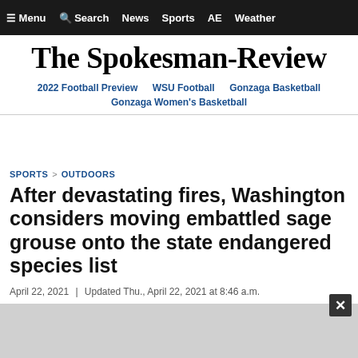☰ Menu  🔍 Search  News  Sports  AE  Weather
The Spokesman-Review
2022 Football Preview   WSU Football   Gonzaga Basketball   Gonzaga Women's Basketball
SPORTS > OUTDOORS
After devastating fires, Washington considers moving embattled sage grouse onto the state endangered species list
April 22, 2021 | Updated Thu., April 22, 2021 at 8:46 a.m.